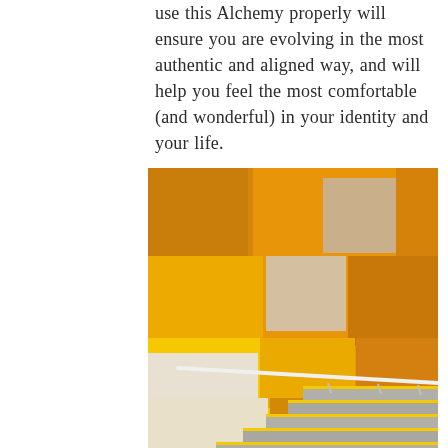use this Alchemy properly will ensure you are evolving in the most authentic and aligned way, and will help you feel the most comfortable (and wonderful) in your identity and your life.
[Figure (photo): A staircase with bright yellow steps and handrail against a modern geometric tiled wall featuring yellow, orange, and white/beige rectangular panels.]